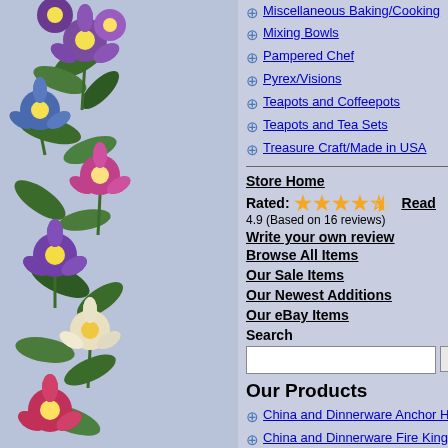[Figure (illustration): Floral illustration with colorful flowers (purple, blue, yellow, pink) and green leaves arranged vertically along the left side of the page]
Miscellaneous Baking/Cooking
Mixing Bowls
Pampered Chef
Pyrex/Visions
Teapots and Coffeepots
Teapots and Tea Sets
Treasure Craft/Made in USA
Store Home
Rated: ★★★★½ Read
4.9 (Based on 16 reviews)
Write your own review
Browse All Items
Our Sale Items
Our Newest Additions
Our eBay Items
Search
Our Products
China and Dinnerware Anchor Hocking
China and Dinnerware Fire King
Glass Cut Glass
Glass Depression Glass Hocking Glass
Colorful Red and Yellow Bear Cookie Jar
$ 20.99
This little guy is tall. His tongue is hanging to the side he is ready to start eating that honey is used and in near mint condition. There are some manufacturing defects in the paint nothing bad and damage.
Get Shipping Quote
Any Questions
Yo
Daytim